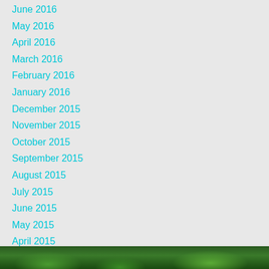June 2016
May 2016
April 2016
March 2016
February 2016
January 2016
December 2015
November 2015
October 2015
September 2015
August 2015
July 2015
June 2015
May 2015
April 2015
March 2015
February 2015
January 2015
[Figure (photo): Green foliage/plants photo strip at bottom of page]